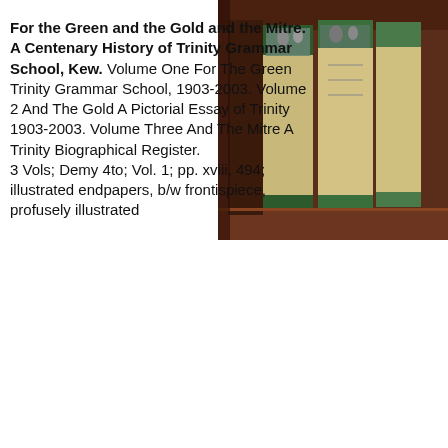[Figure (photo): Photograph of three hardcover books displayed upright on a wooden surface, showing green and cream spines with the title 'For the Green and the Gold and the Mitre']
For the Green and the Gold and the Mitre. A Centenary History of Trinity Grammar School, Kew. Volume One For The Green Trinity Grammar School, 1903-2003. Volume 2 And The Gold A Pictorial Essay of Trinity 1903-2003. Volume Three And The Mitre A Trinity Biographical Register.
3 Vols; Demy 4to; Vol. 1; pp. xviii, 494; illustrated endpapers, b/w frontispiece, profusely illustrated